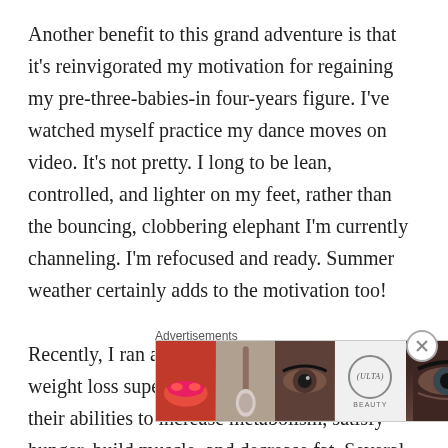Another benefit to this grand adventure is that it's reinvigorated my motivation for regaining my pre-three-babies-in four-years figure. I've watched myself practice my dance moves on video. It's not pretty. I long to be lean, controlled, and lighter on my feet, rather than the bouncing, clobbering elephant I'm currently channeling. I'm refocused and ready. Summer weather certainly adds to the motivation too!

Recently, I ran across a slideshow of twenty weight loss super-foods. Foods were selected for their abilities to increase metabolism, satisfy hunger, build muscle, and decrease fat. Several of the foods were practically begging
[Figure (photo): Advertisement banner showing beauty/makeup photos including lips, makeup brush, eye, Ulta Beauty logo, and close-up eye, with 'SHOP NOW' call to action]